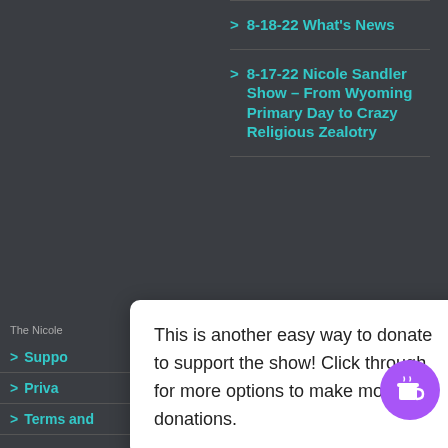> Wendell Potter
> 8-18-22 What's News
> 8-17-22 Nicole Sandler Show – From Wyoming Primary Day to Crazy Religious Zealotry
The Nicole
> Support
> Privacy
> Terms and
dge Drive rings
Get Social
This is another easy way to donate to support the show! Click through for more options to make monthly donations.